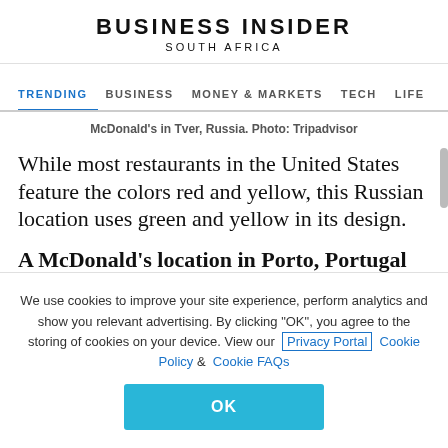BUSINESS INSIDER SOUTH AFRICA
TRENDING   BUSINESS   MONEY & MARKETS   TECH   LIFE
McDonald's in Tver, Russia. Photo: Tripadvisor
While most restaurants in the United States feature the colors red and yellow, this Russian location uses green and yellow in its design.
A McDonald's location in Porto, Portugal
We use cookies to improve your site experience, perform analytics and show you relevant advertising. By clicking "OK", you agree to the storing of cookies on your device. View our Privacy Portal   Cookie Policy &   Cookie FAQs